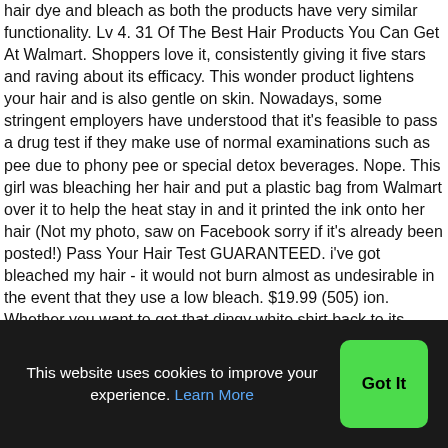hair dye and bleach as both the products have very similar functionality. Lv 4. 31 Of The Best Hair Products You Can Get At Walmart. Shoppers love it, consistently giving it five stars and raving about its efficacy. This wonder product lightens your hair and is also gentle on skin. Nowadays, some stringent employers have understood that it's feasible to pass a drug test if they make use of normal examinations such as pee due to phony pee or special detox beverages. Nope. This girl was bleaching her hair and put a plastic bag from Walmart over it to help the heat stay in and it printed the ink onto her hair (Not my photo, saw on Facebook sorry if it's already been posted!) Pass Your Hair Test GUARANTEED. i've got bleached my hair - it would not burn almost as undesirable in the event that they use a low bleach. $19.99 (505) ion. Whether you want to get that dingy white shirt back to its original, pristine vibrancy or kill all of the nasty germs that are residing in your toilet bowl, the product you reach for is bleach. Not sold in stores. Sally
This website uses cookies to improve your experience. Learn More